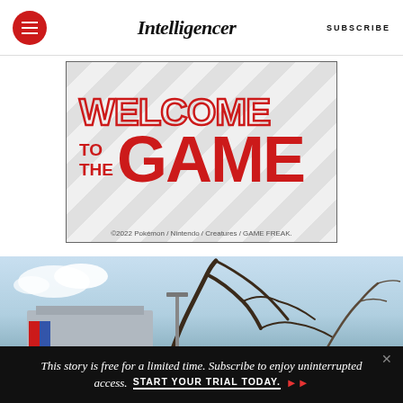Intelligencer | SUBSCRIBE
[Figure (illustration): Advertisement banner with 'WELCOME TO THE GAME' text in red on white background with diagonal stripes, copyright ©2022 Pokémon / Nintendo / Creatures / GAME FREAK.]
©2022 Pokémon / Nintendo / Creatures / GAME FREAK.
[Figure (photo): Outdoor photo showing a building with a red and blue stripe logo, damaged tree branches against a light blue sky.]
This story is free for a limited time. Subscribe to enjoy uninterrupted access. START YOUR TRIAL TODAY.